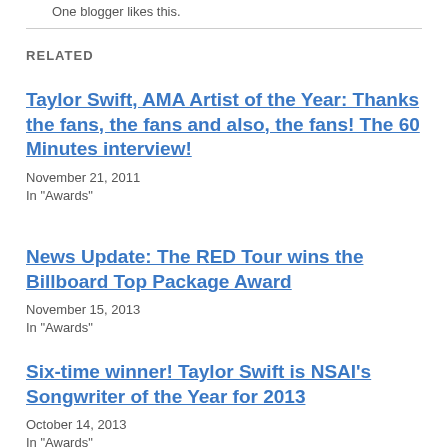One blogger likes this.
RELATED
Taylor Swift, AMA Artist of the Year: Thanks the fans, the fans and also, the fans! The 60 Minutes interview!
November 21, 2011
In "Awards"
News Update: The RED Tour wins the Billboard Top Package Award
November 15, 2013
In "Awards"
Six-time winner! Taylor Swift is NSAI's Songwriter of the Year for 2013
October 14, 2013
In "Awards"